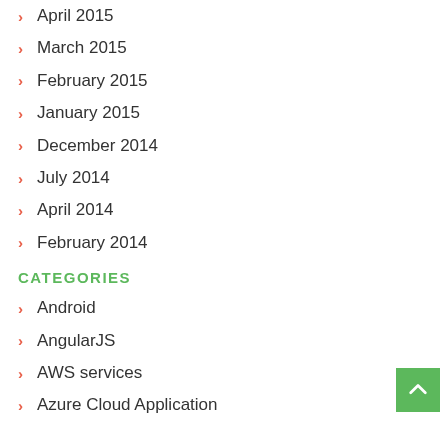April 2015
March 2015
February 2015
January 2015
December 2014
July 2014
April 2014
February 2014
CATEGORIES
Android
AngularJS
AWS services
Azure Cloud Application